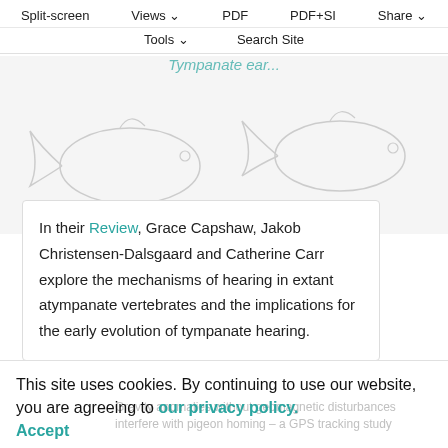Split-screen  Views  PDF  PDF+SI  Share  Tools  Search Site
[Figure (illustration): Illustration of fish/vertebrate animals, partially obscured by navigation overlay, in grayscale sketch style]
In their Review, Grace Capshaw, Jakob Christensen-Dalsgaard and Catherine Carr explore the mechanisms of hearing in extant atympanate vertebrates and the implications for the early evolution of tympanate hearing.
This site uses cookies. By continuing to use our website, you are agreeing to our privacy policy. Accept
Gravity anomalies without geomagnetic disturbances interfere with pigeon homing – a GPS tracking study